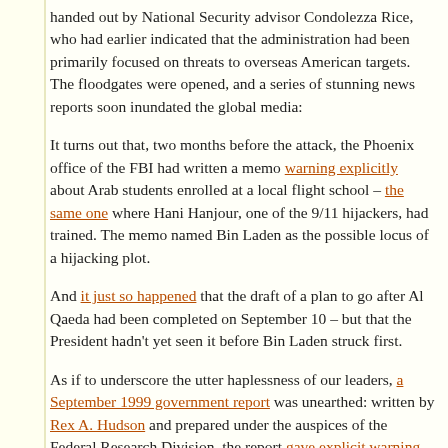handed out by National Security advisor Condolezza Rice, who had earlier indicated that the administration had been primarily focused on threats to overseas American targets. The floodgates were opened, and a series of stunning news reports soon inundated the global media:
It turns out that, two months before the attack, the Phoenix office of the FBI had written a memo warning explicitly about Arab students enrolled at a local flight school – the same one where Hani Hanjour, one of the 9/11 hijackers, had trained. The memo named Bin Laden as the possible locus of a hijacking plot.
And it just so happened that the draft of a plan to go after Al Qaeda had been completed on September 10 – but that the President hadn't yet seen it before Bin Laden struck first.
As if to underscore the utter haplessness of our leaders, a September 1999 government report was unearthed: written by Rex A. Hudson and prepared under the auspices of the Federal Research Division, the report gave explicit warnings of the suicide attack, eerily presaging both the method and